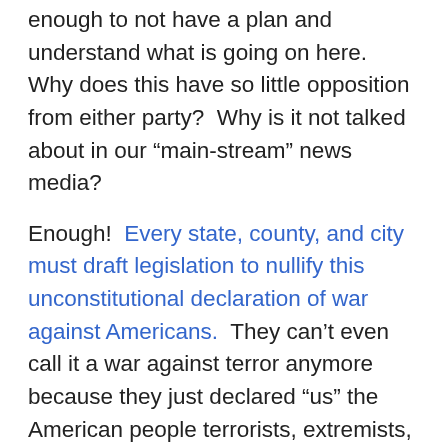enough to not have a plan and understand what is going on here.  Why does this have so little opposition from either party?  Why is it not talked about in our “main-stream” news media?
Enough!  Every state, county, and city must draft legislation to nullify this unconstitutional declaration of war against Americans.  They can’t even call it a war against terror anymore because they just declared “us” the American people terrorists, extremists, committing “belligerent acts”.  They clearly have drawn the line, it is our elected officials against the American people.  How is this possible?  Why would they do this?  Check out the actual verbiage (Title X, Subtitle D, Sections 1021 and 1022 – Page 81 of 371) and you decide.  It is now WAR – they provoked and declared it...
Read Article H...